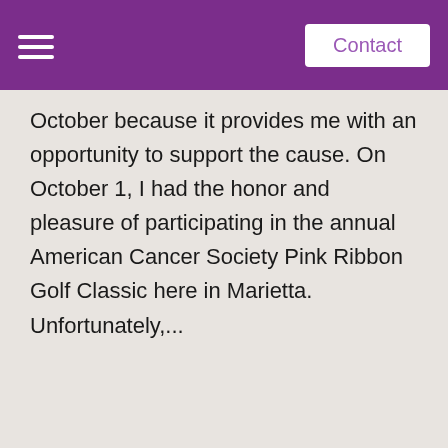Contact
October because it provides me with an opportunity to support the cause. On October 1, I had the honor and pleasure of participating in the annual American Cancer Society Pink Ribbon Golf Classic here in Marietta. Unfortunately,...
Read More
[Figure (photo): Partial view of a woman with long dark hair, smiling, appearing to be a professional headshot or portrait photo]